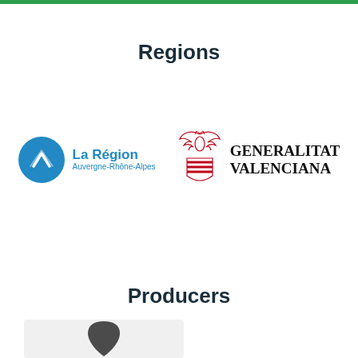Regions
[Figure (logo): La Région Auvergne-Rhône-Alpes logo: blue circle with mountain/triangle icon, blue text reading La Région Auvergne-Rhône-Alpes]
[Figure (logo): Generalitat Valenciana logo: red heraldic bat/bird crest with red and white striped shield, black bold serif text reading GENERALITAT VALENCIANA]
Producers
[Figure (logo): Partial logo on light grey background, showing a dark curved leaf or wing shape — bottom portion cut off]